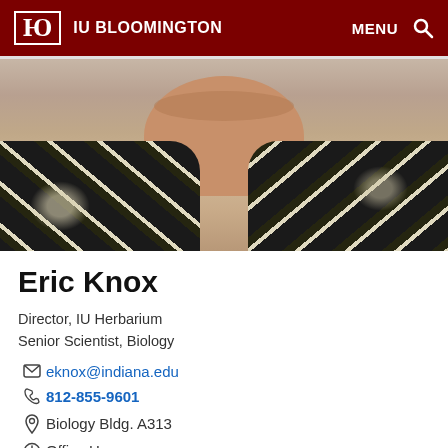IU BLOOMINGTON   MENU
[Figure (photo): Cropped photo of Eric Knox wearing a dark floral/Hawaiian shirt, showing neck and lower face area]
Eric Knox
Director, IU Herbarium
Senior Scientist, Biology
eknox@indiana.edu
812-855-9601
Biology Bldg. A313
Office Hours
M-F: By Appointment Only